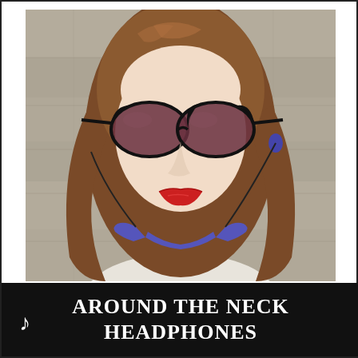[Figure (photo): A young woman with long brown hair wearing large black cat-eye sunglasses and red lipstick, wearing a white top. She has purple around-the-neck Bluetooth headphones resting on her shoulders/neck, with earbuds in her ears. She is standing against a stone wall background.]
AROUND THE NECK HEADPHONES